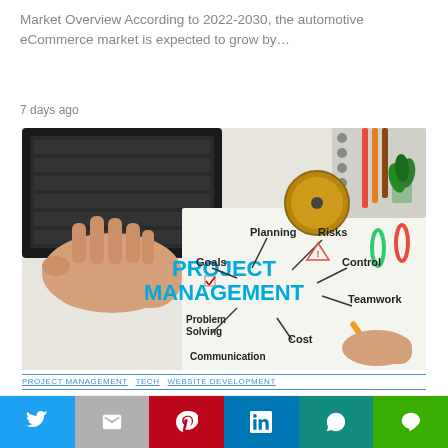Market Overview According to 2022-2030, the automotive eCommerce market is expected to grow by…
7 days ago
[Figure (photo): Project management concept image showing a hand on a keyboard and a whiteboard with 'PROJECT MANAGEMENT' in blue text, surrounded by arrows pointing to: Planning, Risks, Control, Teamwork, Cost, Communication, Problem Solving, Goals. A compass, notebook, colored pencils, small plant and a hand holding a pencil are also visible.]
PROJECT MANAGEMENT TECH WEBSITE DEVELOPMENT
This website uses cookies.
Accept
Twitter | Gmail | Pinterest | LinkedIn | WhatsApp | Line social share buttons